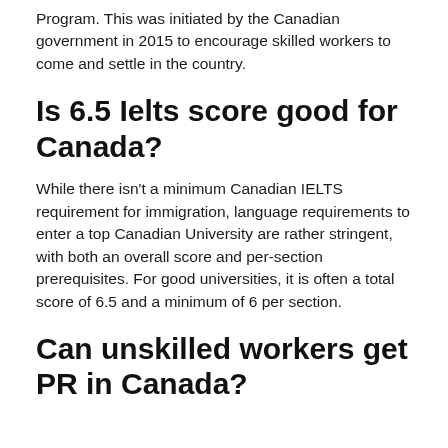Program. This was initiated by the Canadian government in 2015 to encourage skilled workers to come and settle in the country.
Is 6.5 Ielts score good for Canada?
While there isn't a minimum Canadian IELTS requirement for immigration, language requirements to enter a top Canadian University are rather stringent, with both an overall score and per-section prerequisites. For good universities, it is often a total score of 6.5 and a minimum of 6 per section.
Can unskilled workers get PR in Canada?